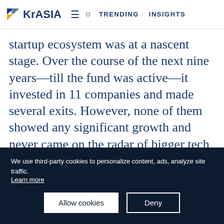KrASIA  =  Q  TRENDING  INSIGHTS
startup ecosystem was at a nascent stage. Over the course of the next nine years—till the fund was active—it invested in 11 companies and made several exits. However, none of them showed any significant growth and never came on the radar of bigger tech companies for acquisition purposes.
We use third-party cookies to personalize content, ads, analyze site traffic. Learn more